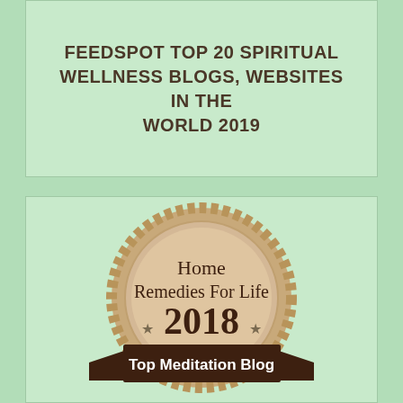FEEDSPOT TOP 20 SPIRITUAL WELLNESS BLOGS, WEBSITES IN THE WORLD 2019
[Figure (illustration): Award badge medal: beige/tan circular medal with rope border, text 'Home Remedies For Life' and '2018', stars on sides, with dark brown ribbon banner at bottom reading 'Top Meditation Blog']